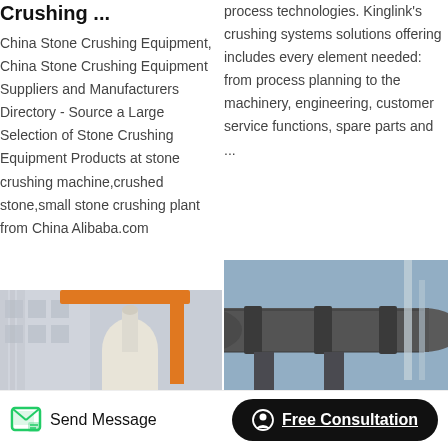Crushing ...
China Stone Crushing Equipment, China Stone Crushing Equipment Suppliers and Manufacturers Directory - Source a Large Selection of Stone Crushing Equipment Products at stone crushing machine,crushed stone,small stone crushing plant from China Alibaba.com
process technologies. Kinglink's crushing systems solutions offering includes every element needed: from process planning to the machinery, engineering, customer service functions, spare parts and ...
[Figure (photo): Industrial stone crushing equipment / dust collector unit with orange crane structure and white building in background]
[Figure (photo): Large industrial rotary kiln or drum equipment outdoors against blue sky]
Send Message
Free Consultation